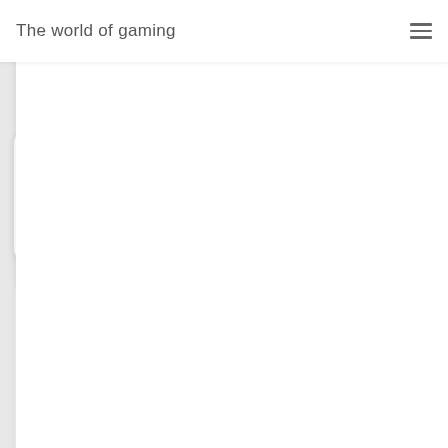The world of gaming
Garena Free Fire has released a new set of redeem codes for Today June 2022. These codes are used by the players of this game to claim rewards and other in-game items, for free. Rewards and Read more...
[Figure (other): Empty white card below, partially visible, no content shown]